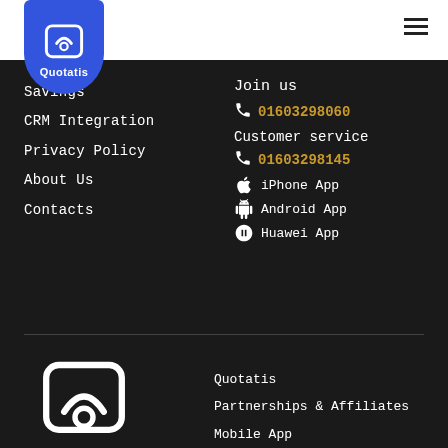Quotatis logo and navigation header
Savings
CRM Integration
Privacy Policy
About Us
Contacts
Join us
01603298060
Customer service
01603298145
iPhone App
Android App
Huawei App
[Figure (logo): Quotatis large white logo]
Quotatis
Your Home Improved
Quotatis
Partnerships & Affiliates
Mobile App